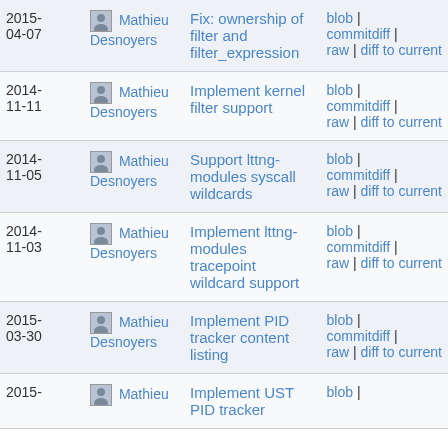| Date | Author | Message | Links |
| --- | --- | --- | --- |
| 2015-04-07 | Mathieu Desnoyers | Fix: ownership of filter and filter_expression | blob | commitdiff | raw | diff to current |
| 2014-11-11 | Mathieu Desnoyers | Implement kernel filter support | blob | commitdiff | raw | diff to current |
| 2014-11-05 | Mathieu Desnoyers | Support lttng-modules syscall wildcards | blob | commitdiff | raw | diff to current |
| 2014-11-03 | Mathieu Desnoyers | Implement lttng-modules tracepoint wildcard support | blob | commitdiff | raw | diff to current |
| 2015-03-30 | Mathieu Desnoyers | Implement PID tracker content listing | blob | commitdiff | raw | diff to current |
| 2015- | Mathieu | Implement UST PID tracker | blob | |